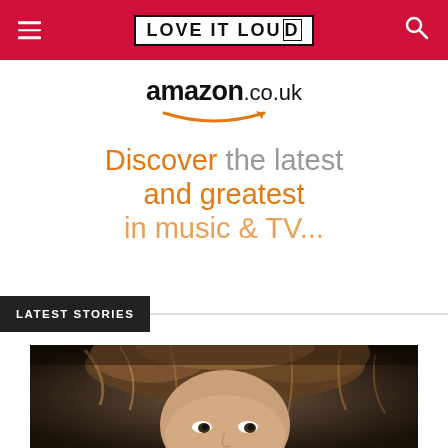LOVE IT LOUD
[Figure (advertisement): Amazon.co.uk banner ad with orange smile logo and tagline: Discover the latest and greatest]
LATEST STORIES
[Figure (photo): Close-up photo of a person with curly/messy hair, partially visible face with eyes looking forward, dark blurred background]